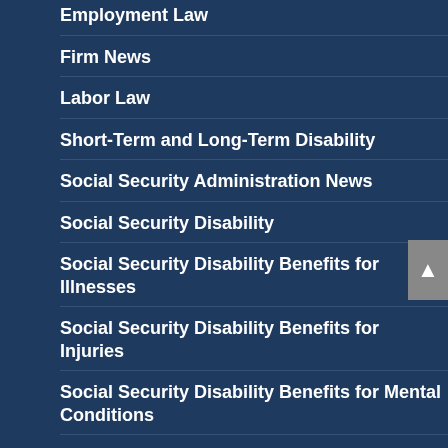Employment Law
Firm News
Labor Law
Short-Term and Long-Term Disability
Social Security Administration News
Social Security Disability
Social Security Disability Benefits for Illnesses
Social Security Disability Benefits for Injuries
Social Security Disability Benefits for Mental Conditions
Workers' Compensation
Wrongful Termination